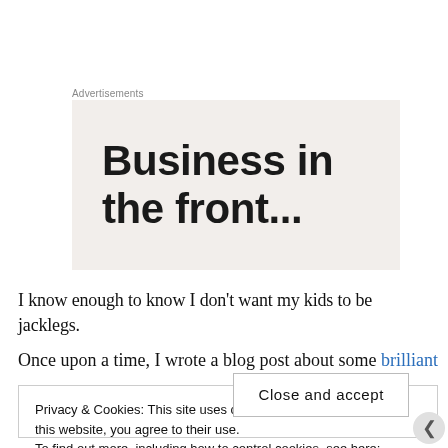Advertisements
[Figure (other): Advertisement box with text 'Business in the front...' on a light beige/cream background]
I know enough to know I don’t want my kids to be jacklegs.
Once upon a time, I wrote a blog post about some brilliant
Privacy & Cookies: This site uses cookies. By continuing to use this website, you agree to their use.
To find out more, including how to control cookies, see here: Cookie Policy
Close and accept